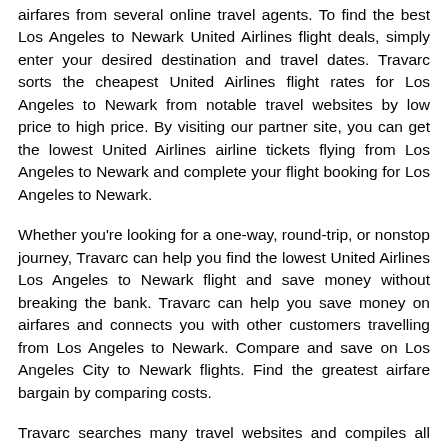airfares from several online travel agents. To find the best Los Angeles to Newark United Airlines flight deals, simply enter your desired destination and travel dates. Travarc sorts the cheapest United Airlines flight rates for Los Angeles to Newark from notable travel websites by low price to high price. By visiting our partner site, you can get the lowest United Airlines airline tickets flying from Los Angeles to Newark and complete your flight booking for Los Angeles to Newark.
Whether you're looking for a one-way, round-trip, or nonstop journey, Travarc can help you find the lowest United Airlines Los Angeles to Newark flight and save money without breaking the bank. Travarc can help you save money on airfares and connects you with other customers travelling from Los Angeles to Newark. Compare and save on Los Angeles City to Newark flights. Find the greatest airfare bargain by comparing costs.
Travarc searches many travel websites and compiles all United Airlines flight costs in one place, making it simple to find low-cost flights from Los Angeles to Newark. Travarc searches and compares the latest low cost United Airlines ticket prices from hundreds of online travel portals in seconds if you are looking for a